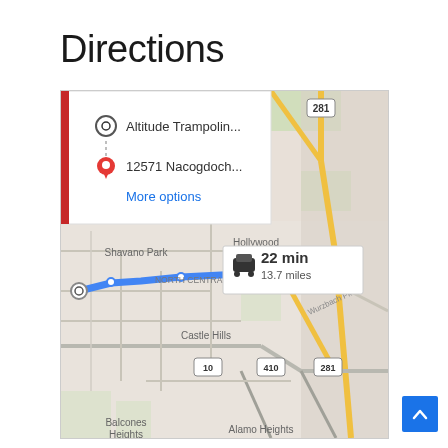Directions
[Figure (screenshot): Google Maps screenshot showing driving directions from Altitude Trampoline to 12571 Nacogdoch... in San Antonio, TX. Map shows a blue route through North Central area, passing Shavano Park, Hollywood Park, Castle Hills, with highway markers 10, 410, and 281 visible. A directions panel overlays the top-left showing: circle icon - Altitude Trampolin..., red pin icon - 12571 Nacogdoch..., More options link in blue. A route summary box shows a car icon, 22 min, 13.7 miles. Neighborhoods visible: Central, Hollywood Park, Shavano Park, North Central, Castle Hills, Balcones Heights, Alamo Heights. Roads include Wurzbach Pkwy.]